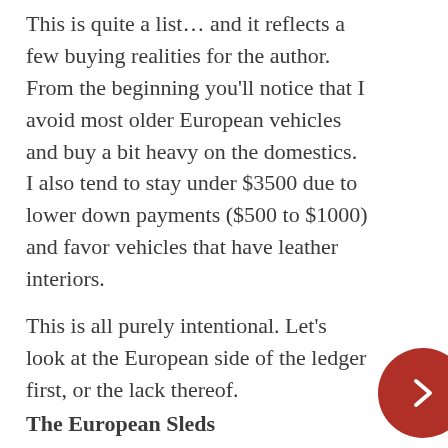This is quite a list... and it reflects a few buying realities for the author. From the beginning you'll notice that I avoid most older European vehicles and buy a bit heavy on the domestics. I also tend to stay under $3500 due to lower down payments ($500 to $1000) and favor vehicles that have leather interiors.
This is all purely intentional. Let's look at the European side of the ledger first, or the lack thereof.
The European Sleds